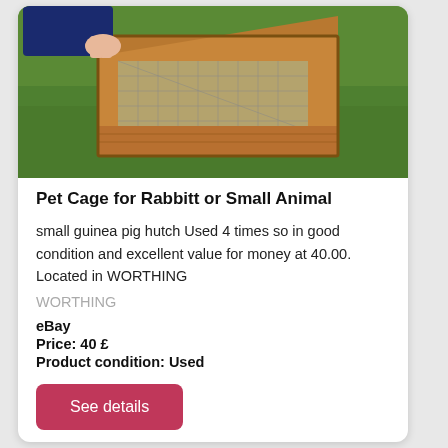[Figure (photo): A wooden pet hutch/cage for small animals, being held open by a person's hand. The hutch is made of light brown wood with wire mesh, shown outdoors on green grass.]
Pet Cage for Rabbitt or Small Animal
small guinea pig hutch Used 4 times so in good condition and excellent value for money at 40.00. Located in WORTHING
WORTHING
eBay
Price: 40 £
Product condition: Used
See details